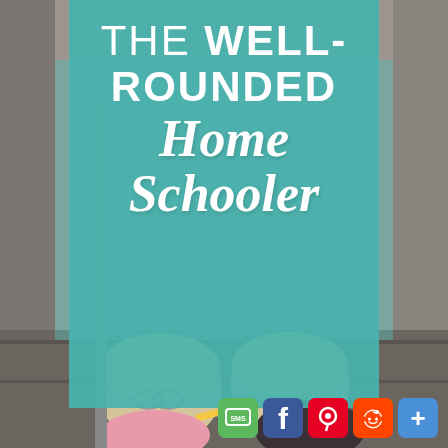[Figure (illustration): Promotional graphic for 'The Well-Rounded Home Schooler'. Features a teal overlay panel with white text on top of a photo background of two blonde children lying on steps writing/drawing. Social sharing buttons (SMS, Facebook, Pinterest, Reddit, More) appear in the bottom-right corner.]